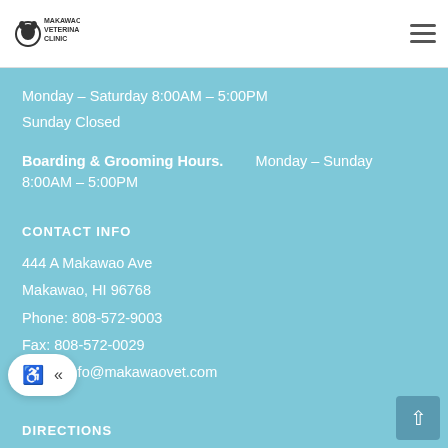[Figure (logo): Makawao Veterinary Clinic logo with dog icon]
Monday – Saturday 8:00AM – 5:00PM
Sunday Closed
Boarding & Grooming Hours.   Monday – Sunday 8:00AM – 5:00PM
CONTACT INFO
444 A Makawao Ave
Makawao, HI 96768
Phone: 808-572-9003
Fax: 808-572-0029
Email: info@makawaovet.com
DIRECTIONS